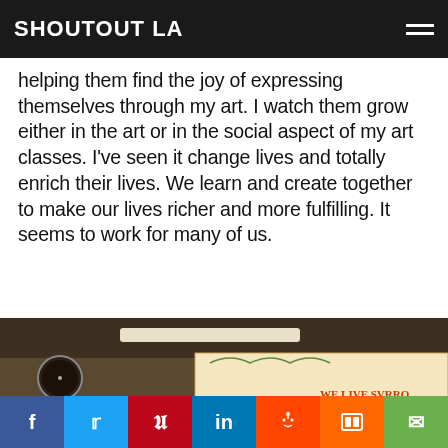SHOUTOUT LA
helping them find the joy of expressing themselves through my art. I watch them grow either in the art or in the social aspect of my art classes. I've seen it change lives and totally enrich their lives. We learn and create together to make our lives richer and more fulfilling. It seems to work for many of us.
[Figure (photo): Interior of an art studio/classroom with framed artwork on walls, art supplies, and a large illuminated manuscript-style sign reading 'WE LIVE SURROUNDED BY SYMBOLS MUCH OF THE WORLDS work goes forward with their aid. Through coded symbols where forms are attached to pre-assigned values we learn language mathematics and music. They are widely used in a great many professions']
f  t  p  in  reddit  mix  email (social share buttons)